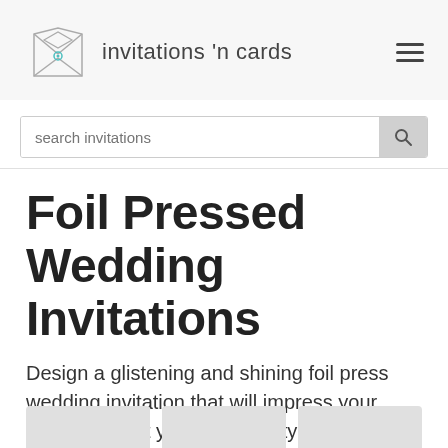invitations 'n cards
search invitations
Foil Pressed Wedding Invitations
Design a glistening and shining foil press wedding invitation that will impress your guests and let your personality shine through. Choose from foils in gold, silver, copper, rose gold.